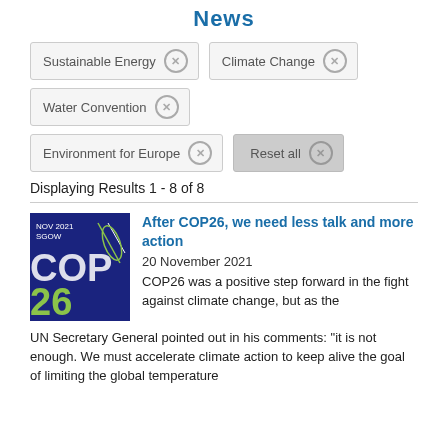News
Sustainable Energy [x]   Climate Change [x]
Water Convention [x]
Environment for Europe [x]   Reset all [x]
Displaying Results 1 - 8 of 8
[Figure (photo): COP26 logo on dark blue background with green text showing NOV 2021 GLASGOW COP26]
After COP26, we need less talk and more action
20 November 2021
COP26 was a positive step forward in the fight against climate change, but as the UN Secretary General pointed out in his comments: “it is not enough. We must accelerate climate action to keep alive the goal of limiting the global temperature